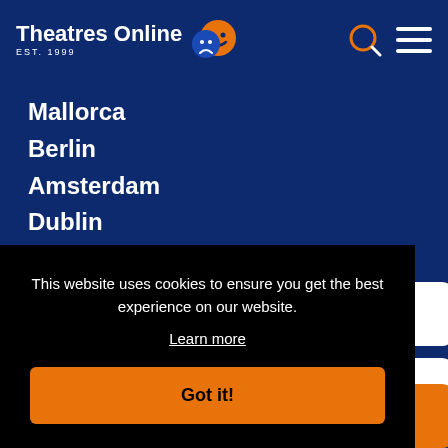Theatres Online EST. 1999
Mallorca
Berlin
Amsterdam
Dublin
Toronto
This website uses cookies to ensure you get the best experience on our website.
Learn more
Got it!